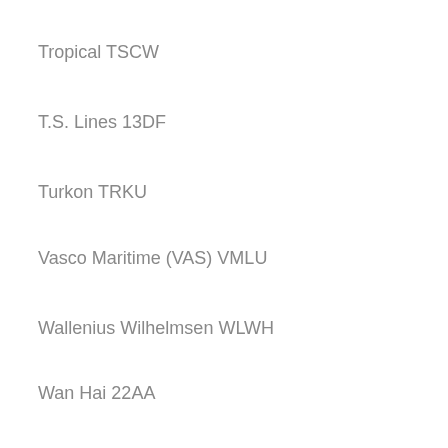Tropical TSCW
T.S. Lines 13DF
Turkon TRKU
Vasco Maritime (VAS) VMLU
Wallenius Wilhelmsen WLWH
Wan Hai 22AA
W.E.C. (West European Container) Lines WECU
Westwood Shipping Lines WWSU